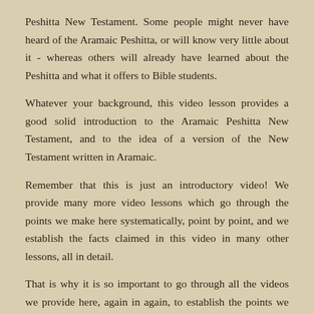Peshitta New Testament. Some people might never have heard of the Aramaic Peshitta, or will know very little about it - whereas others will already have learned about the Peshitta and what it offers to Bible students.
Whatever your background, this video lesson provides a good solid introduction to the Aramaic Peshitta New Testament, and to the idea of a version of the New Testament written in Aramaic.
Remember that this is just an introductory video! We provide many more video lessons which go through the points we make here systematically, point by point, and we establish the facts claimed in this video in many other lessons, all in detail.
That is why it is so important to go through all the videos we provide here, again in again, to establish the points we make, until you understand them fully. This material is